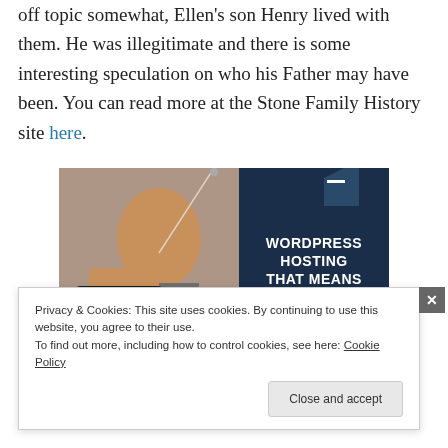off topic somewhat, Ellen's son Henry lived with them. He was illegitimate and there is some interesting speculation on who his Father may have been. You can read more at the Stone Family History site here.
[Figure (illustration): Advertisement image showing a woman holding an OPEN sign on the left half, and dark blue background with text 'WORDPRESS HOSTING THAT MEANS BUSINESS.' on the right half.]
Privacy & Cookies: This site uses cookies. By continuing to use this website, you agree to their use.
To find out more, including how to control cookies, see here: Cookie Policy